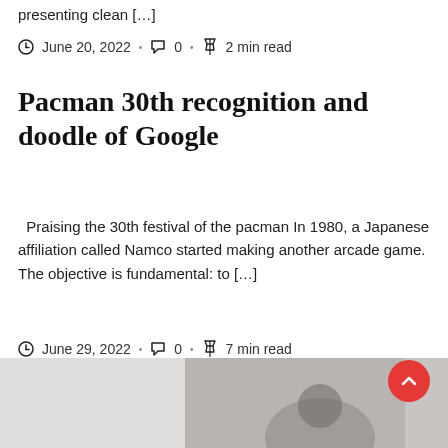presenting clean […]
June 20, 2022 · 0 · 2 min read
Pacman 30th recognition and doodle of Google
Praising the 30th festival of the pacman In 1980, a Japanese affiliation called Namco started making another arcade game. The objective is fundamental: to […]
June 29, 2022 · 0 · 7 min read
[Figure (photo): Bottom strip showing a partial photo of a person, light background]